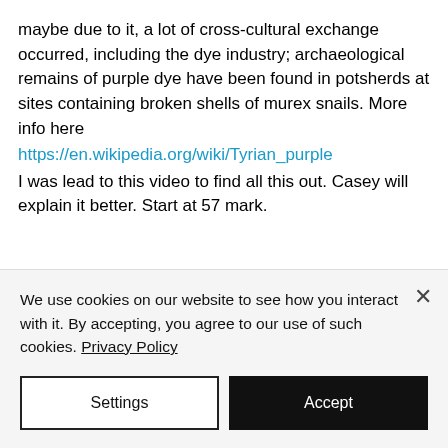maybe due to it, a lot of cross-cultural exchange occurred, including the dye industry; archaeological remains of purple dye have been found in potsherds at sites containing broken shells of murex snails. More info here
https://en.wikipedia.org/wiki/Tyrian_purple
I was lead to this video to find all this out. Casey will explain it better. Start at 57 mark.
We use cookies on our website to see how you interact with it. By accepting, you agree to our use of such cookies. Privacy Policy
Settings
Accept